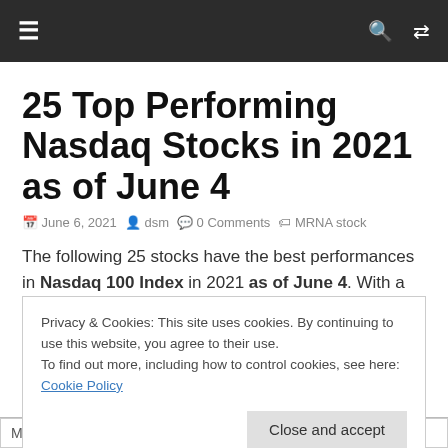≡  🔍  ⇄
25 Top Performing Nasdaq Stocks in 2021 as of June 4
June 6, 2021  dsm  0 Comments  MRNA stock
The following 25 stocks have the best performances in Nasdaq 100 Index in 2021 as of June 4. With a return of 97.25%, Moderna Inc stock has the highest return in 2021. It is followed by Applied
Privacy & Cookies: This site uses cookies. By continuing to use this website, you agree to their use.
To find out more, including how to control cookies, see here: Cookie Policy
|  |  |  |  |
| --- | --- | --- | --- |
| MRNA | Moderna Inc | +97.25% | +240.11% |